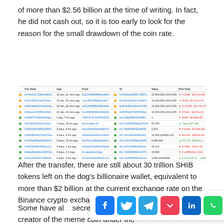of more than $2.56 billion at the time of writing. In fact, he did not cash out, so it is too early to look for the reason for the small drawdown of the coin rate.
[Figure (screenshot): Blockchain transaction table showing multiple SHIB token transfers with transaction hashes, timestamps, sender/receiver addresses, token amounts, and value changes.]
After the transfer, there are still about 30 trillion SHIB tokens left on the dog's billionaire wallet, equivalent to more than $2 billion at the current exchange rate on the Binance crypto exchange.
[Figure (other): Social sharing icons bar: Facebook, Twitter, Telegram, Pocket, LinkedIn, WhatsApp]
Some have al... secret billionaire is none other than the creator of the meme coin under the